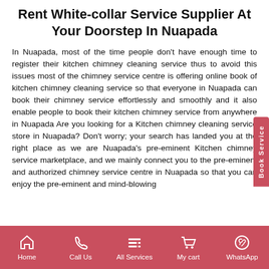Rent White-collar Service Supplier At Your Doorstep In Nuapada
In Nuapada, most of the time people don't have enough time to register their kitchen chimney cleaning service thus to avoid this issues most of the chimney service centre is offering online book of kitchen chimney cleaning service so that everyone in Nuapada can book their chimney service effortlessly and smoothly and it also enable people to book their kitchen chimney service from anywhere in Nuapada Are you looking for a Kitchen chimney cleaning service store in Nuapada? Don't worry; your search has landed you at the right place as we are Nuapada's pre-eminent Kitchen chimney service marketplace, and we mainly connect you to the pre-eminent and authorized chimney service centre in Nuapada so that you can enjoy the pre-eminent and mind-blowing
Home | Call Us | All Services | My cart | WhatsApp